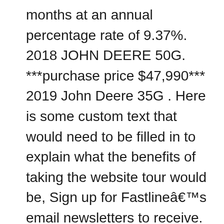months at an annual percentage rate of 9.37%. 2018 JOHN DEERE 50G. ***purchase price $47,990*** 2019 John Deere 35G . Here is some custom text that would need to be filled in to explain what the benefits of taking the website tour would be, Sign up for Fastlineâs email newsletters to receive. Additional information is available in this. NEW FINANCING PROGRAMS AND NEW WARRANTY! Key Features. 2019 HITACHI 50G ... parts, and service, RDO Equipment Co. offers everything your business needs. Call for Prices. Price: $52,100. only 1110 hrs reading on digital meter. ... John Deere New 1023E ***GREAT NEW PRICE*** Tractor Package Special $17,599